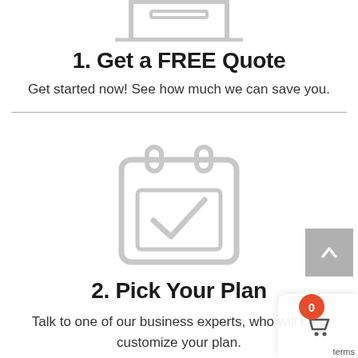[Figure (illustration): Laptop/computer icon in light gray outline style, partially cropped at top of page]
1. Get a FREE Quote
Get started now! See how much we can save you.
[Figure (illustration): Calendar icon with a checkmark inside, in light gray outline style]
2. Pick Your Plan
Talk to one of our business experts, who will help customize your plan.